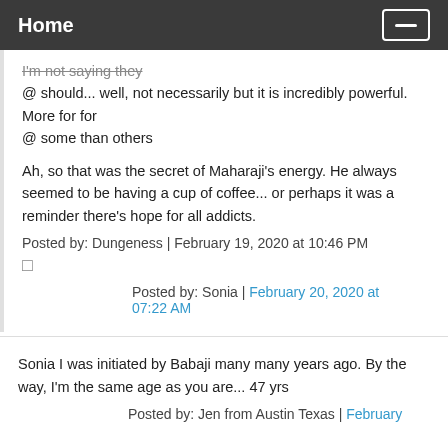Home
I'm not saying they
@ should... well, not necessarily but it is incredibly powerful. More for for
@ some than others
Ah, so that was the secret of Maharaji's energy. He always
seemed to be having a cup of coffee... or perhaps it was a
reminder there’s hope for all addicts.
Posted by: Dungeness | February 19, 2020 at 10:46 PM
Posted by: Sonia | February 20, 2020 at 07:22 AM
Sonia I was initiated by Babaji many many years ago. By the way, I'm the same age as you are... 47 yrs
Posted by: Jen from Austin Texas | February